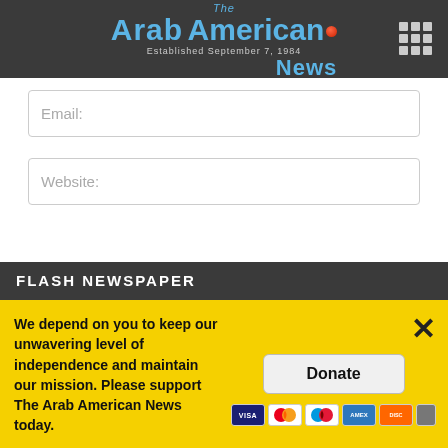The Arab American News — Established September 7, 1984
Email:
Website:
Post Comment
FLASH NEWSPAPER
We depend on you to keep our unwavering level of independence and maintain our mission. Please support The Arab American News today.
Donate